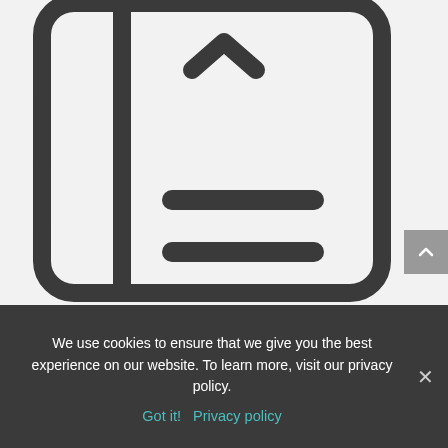[Figure (illustration): Large book or package icon with a bookmark/tag at the top and two horizontal lines in the lower portion, rendered in dark gray outlines on a light gray background. The icon is partially cropped at top and right edges.]
We use cookies to ensure that we give you the best experience on our website. To learn more, visit our privacy policy.
Got it!  Privacy policy